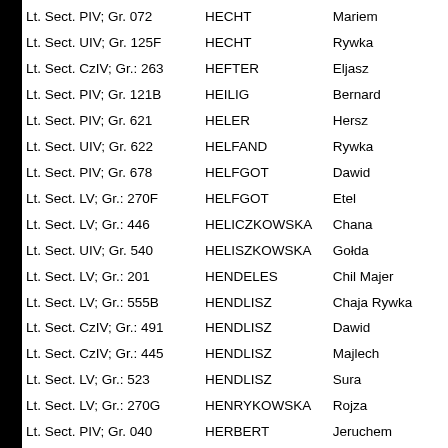| Lt. Sect. PIV; Gr. 072 | HECHT | Mariem |
| Lt. Sect. UIV; Gr. 125F | HECHT | Rywka |
| Lt. Sect. CzIV; Gr.: 263 | HEFTER | Eljasz |
| Lt. Sect. PIV; Gr. 121B | HEILIG | Bernard |
| Lt. Sect. PIV; Gr. 621 | HELER | Hersz |
| Lt. Sect. UIV; Gr. 622 | HELFAND | Rywka |
| Lt. Sect. PIV; Gr. 678 | HELFGOT | Dawid |
| Lt. Sect. LV; Gr.: 270F | HELFGOT | Etel |
| Lt. Sect. LV; Gr.: 446 | HELICZKOWSKA | Chana |
| Lt. Sect. UIV; Gr. 540 | HELISZKOWSKA | Gołda |
| Lt. Sect. LV; Gr.: 201 | HENDELES | Chil Majer |
| Lt. Sect. LV; Gr.: 555B | HENDLISZ | Chaja Rywka |
| Lt. Sect. CzIV; Gr.: 491 | HENDLISZ | Dawid |
| Lt. Sect. CzIV; Gr.: 445 | HENDLISZ | Majlech |
| Lt. Sect. LV; Gr.: 523 | HENDLISZ | Sura |
| Lt. Sect. LV; Gr.: 270G | HENRYKOWSKA | Rojza |
| Lt. Sect. PIV; Gr. 040 | HERBERT | Jeruchem |